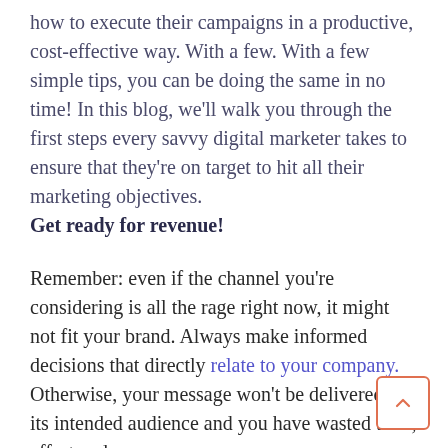how to execute their campaigns in a productive, cost-effective way. With a few. With a few simple tips, you can be doing the same in no time! In this blog, we'll walk you through the first steps every savvy digital marketer takes to ensure that they're on target to hit all their marketing objectives. Get ready for revenue!
Remember: even if the channel you're considering is all the rage right now, it might not fit your brand. Always make informed decisions that directly relate to your company. Otherwise, your message won't be delivered to its intended audience and you have wasted time, effort and money.